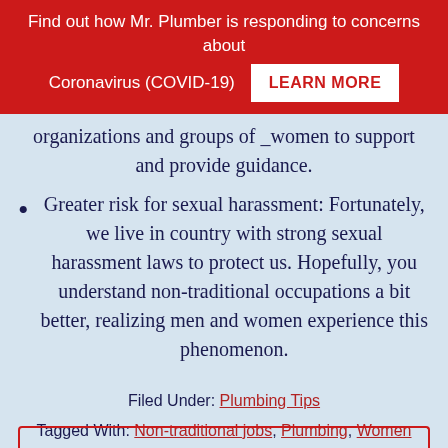Find out how Mr. Plumber is responding to concerns about Coronavirus (COVID-19) LEARN MORE
organizations and groups of _women to support and provide guidance.
Greater risk for sexual harassment: Fortunately, we live in country with strong sexual harassment laws to protect us. Hopefully, you understand non-traditional occupations a bit better, realizing men and women experience this phenomenon.
Filed Under: Plumbing Tips
Tagged With: Non-traditional jobs, Plumbing, Women